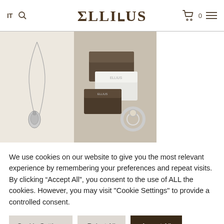IT  [search icon]  ELLIUS  [cart icon] 0  [menu icon]
[Figure (photo): Silver necklace with pendant on white background]
[Figure (photo): Ellius jewelry boxes stacked with ring and accessories]
We use cookies on our website to give you the most relevant experience by remembering your preferences and repeat visits. By clicking “Accept All”, you consent to the use of ALL the cookies. However, you may visit "Cookie Settings" to provide a controlled consent.
Cookie Settings
Reject All
Accept All